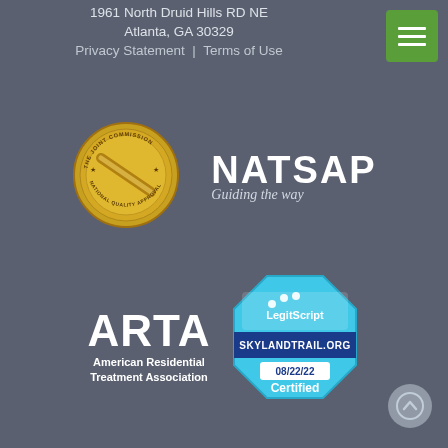1961 North Druid Hills RD NE
Atlanta, GA 30329
Privacy Statement | Terms of Use
[Figure (logo): The Joint Commission National Quality Approval gold seal/medallion logo]
[Figure (logo): NATSAP - Guiding the way logo in white text]
[Figure (logo): ARTA - American Residential Treatment Association logo in white]
[Figure (logo): LegitScript Certified badge for skylandtrail.org dated 08/22/22]